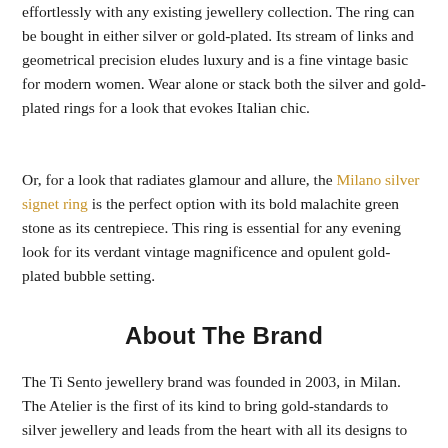effortlessly with any existing jewellery collection. The ring can be bought in either silver or gold-plated. Its stream of links and geometrical precision eludes luxury and is a fine vintage basic for modern women. Wear alone or stack both the silver and gold-plated rings for a look that evokes Italian chic.
Or, for a look that radiates glamour and allure, the Milano silver signet ring is the perfect option with its bold malachite green stone as its centrepiece. This ring is essential for any evening look for its verdant vintage magnificence and opulent gold-plated bubble setting.
About The Brand
The Ti Sento jewellery brand was founded in 2003, in Milan. The Atelier is the first of its kind to bring gold-standards to silver jewellery and leads from the heart with all its designs to curate unique, distinctive jewellery. Ti Sento prides itself on creating jewellery that caters to